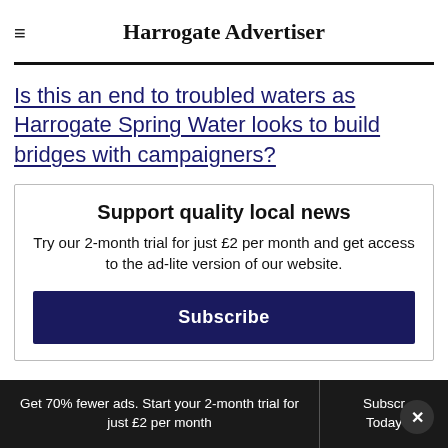Harrogate Advertiser
Is this an end to troubled waters as Harrogate Spring Water looks to build bridges with campaigners?
Support quality local news
Try our 2-month trial for just £2 per month and get access to the ad-lite version of our website.
Subscribe
Get 70% fewer ads. Start your 2-month trial for just £2 per month   Subscr Today  ×